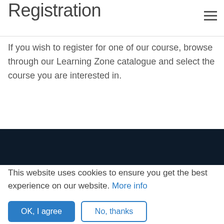Registration
If you wish to register for one of our course, browse through our Learning Zone catalogue and select the course you are interested in.
This website uses cookies to ensure you get the best experience on our website. More info
OK, I agree
No, thanks